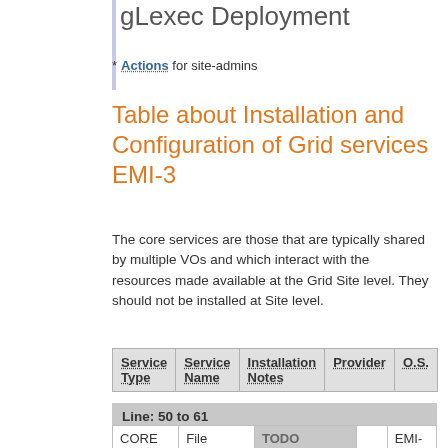gLexec Deployment
* Actions for site-admins
Table about Installation and Configuration of Grid services EMI-3
The core services are those that are typically shared by multiple VOs and which interact with the resources made available at the Grid Site level. They should not be installed at Site level.
| Service Type | Service Name | Installation Notes | Provider | O.S. |
| --- | --- | --- | --- | --- |
| CORE service | File Transfer Service (FTS) | TODO |  | EMI-2 |
| CORE | VOMS | Notes about Installation |  | EMI- |
Line: 50 to 61